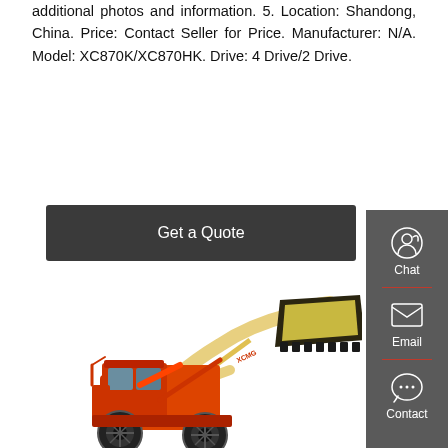additional photos and information. 5. Location: Shandong, China. Price: Contact Seller for Price. Manufacturer: N/A. Model: XC870K/XC870HK. Drive: 4 Drive/2 Drive.
Get a Quote
[Figure (photo): Orange wheel loader (front loader) with raised bucket arm, brand markings visible on the arm, large black tires, on white background.]